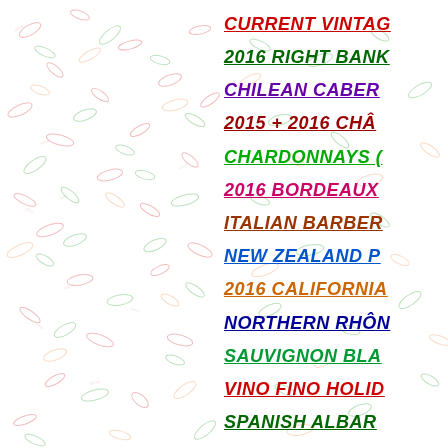[Figure (illustration): Decorative background pattern of scattered leaf/seed shapes in light red, green, and orange tones across the full page]
CURRENT VINTAG…
2016 RIGHT BANK…
CHILEAN CABER…
2015 + 2016 CHÂ…
CHARDONNAYS (…
2016 BORDEAUX …
ITALIAN BARBER…
NEW ZEALAND P…
2016 CALIFORNIA…
NORTHERN RHÔN…
SAUVIGNON BLA…
VINO FINO HOLID…
SPANISH ALBAR…